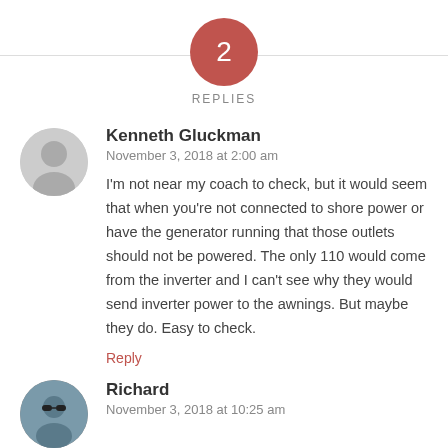[Figure (infographic): Circle with number 2 inside on a horizontal divider line with REPLIES label below]
REPLIES
Kenneth Gluckman
November 3, 2018 at 2:00 am
I'm not near my coach to check, but it would seem that when you're not connected to shore power or have the generator running that those outlets should not be powered. The only 110 would come from the inverter and I can't see why they would send inverter power to the awnings. But maybe they do. Easy to check.
Reply
Richard
November 3, 2018 at 10:25 am